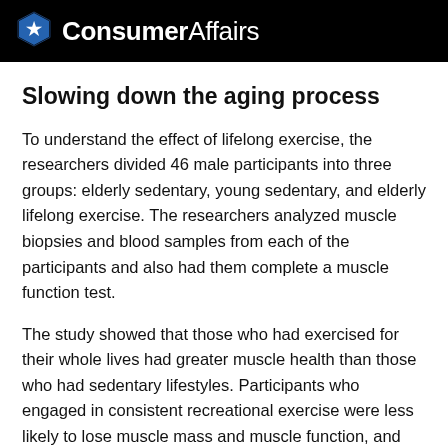ConsumerAffairs
Slowing down the aging process
To understand the effect of lifelong exercise, the researchers divided 46 male participants into three groups: elderly sedentary, young sedentary, and elderly lifelong exercise. The researchers analyzed muscle biopsies and blood samples from each of the participants and also had them complete a muscle function test.
The study showed that those who had exercised for their whole lives had greater muscle health than those who had sedentary lifestyles. Participants who engaged in consistent recreational exercise were less likely to lose muscle mass and muscle function, and they were less likely to experience muscle fatigue.